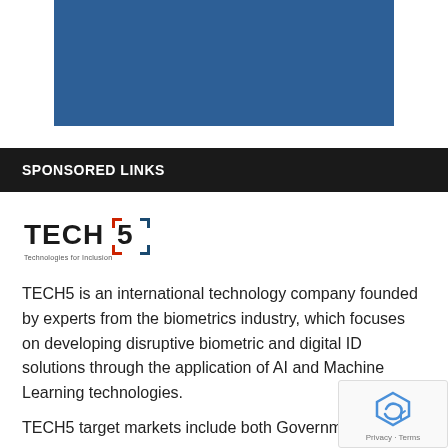[Figure (other): Blue rectangular banner image at top of page]
SPONSORED LINKS
[Figure (logo): TECH5 logo — Technologies for Inclusion]
TECH5 is an international technology company founded by experts from the biometrics industry, which focuses on developing disruptive biometric and digital ID solutions through the application of AI and Machine Learning technologies.
TECH5 target markets include both Government and